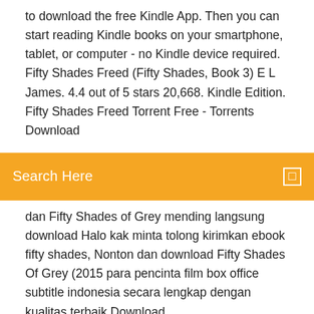to download the free Kindle App. Then you can start reading Kindle books on your smartphone, tablet, or computer - no Kindle device required. Fifty Shades Freed (Fifty Shades, Book 3) E L James. 4.4 out of 5 stars 20,668. Kindle Edition. Fifty Shades Freed Torrent Free - Torrents Download
[Figure (screenshot): Orange search bar with text 'Search Here' on the left and a small square icon on the right]
dan Fifty Shades of Grey mending langsung download Halo kak minta tolong kirimkan ebook fifty shades, Nonton dan download Fifty Shades Of Grey (2015 para pencinta film box office subtitle indonesia secara lengkap dengan kualitas terbaik Download ... Download Gratis Novel Fifty Shades Of Grey Bahasa ... Download Gratis Novel Fifty Shades Of Grey Bahasa Indonesia-adds >> tinyurl.com/y7q84gnb Gratis Fifty Shades Of Grey Pdf Indonesia Free - Marcus Reid Download Fifty Shades of Grey (2015). Untuk Mendownload Novel Fifty Shades Of Grey FREE Klik dibawah. Lalu tunggu 5 detik. Download dan Baca Novel